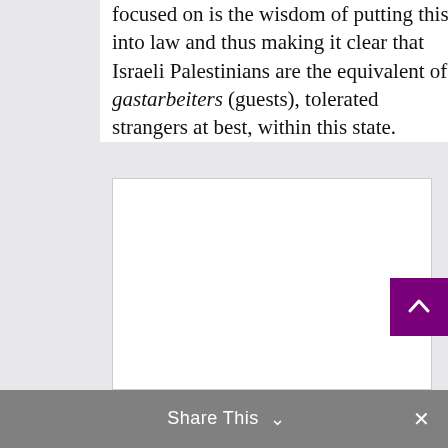focused on is the wisdom of putting this into law and thus making it clear that Israeli Palestinians are the equivalent of gastarbeiters (guests), tolerated strangers at best, within this state.
[Figure (other): A blank white rectangle with a thin border, representing an embedded image or video placeholder in a web article.]
Share This ∨  ✕